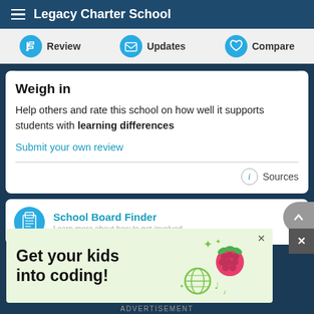Legacy Charter School
Review | Updates | Compare
Weigh in
Help others and rate this school on how well it supports students with learning differences
Submit your own review
Sources
School Board Finder
Learn more about how to get involved
[Figure (screenshot): Advertisement with light green background reading 'Get your kids into coding!' with raspberry pi logo and decorative icons]
ADVERTISEMENT